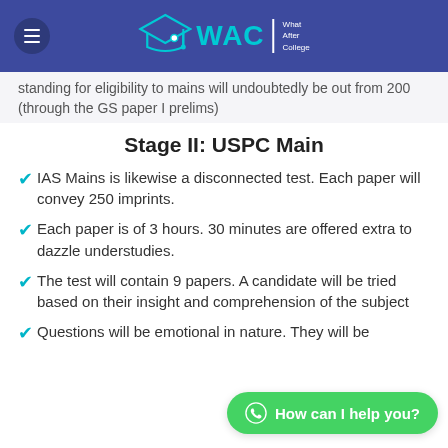[Figure (logo): WAC (What After College) website header with logo, hamburger menu, and teal/blue branding]
standing for eligibility to mains will undoubtedly be out from 200 (through the GS paper I prelims)
Stage II: USPC Main
IAS Mains is likewise a disconnected test. Each paper will convey 250 imprints.
Each paper is of 3 hours. 30 minutes are offered extra to dazzle understudies.
The test will contain 9 papers. A candidate will be tried based on their insight and comprehension of the subject
Questions will be emotional in nature. They will be